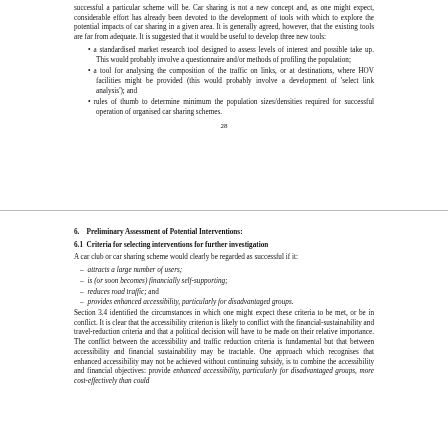successful a particular scheme will be. Car sharing is not a new concept and, as one might expect, considerable effort has already been devoted to the development of tools with which to explore the potential impacts of car sharing in a given area. It is generally agreed, however, that the existing tools are far from adequate. It is suggested that it would be useful to develop three new tools:
a standardised market research tool designed to assess levels of interest and possible take up. This would probably involve a questionnaire and/or methods of profiling the population;
a tool for analysing the composition of the traffic on links, or at destinations, where HOV facilities might be provided (this would probably involve a development of 'select link analysis'); and
rules of thumb to determine minimum the population sizes/densities required for successful operation of organised car sharing schemes.
28
6. Preliminary Assessment of Potential Interventions:
6.1 Criteria for selecting interventions for further investigation
A car club or car sharing scheme would clearly be regarded as successful if it:
attracts a large number of users;
is (or soon becomes) financially self-supporting;
reduces road traffic; and
provides enhanced accessibility, particularly for disadvantaged groups.
Section 3.4 identified the circumstances in which one might expect these criteria to be met, or be in conflict. It is clear that the accessibility criterion is likely to conflict with the financial-sustainability and travel-reduction criteria and that a political decision will have to be made on their relative importance. The conflict between the accessibility and traffic reduction criteria is fundamental but that between accessibility and financial sustainability may be tractable. One approach which recognises that enhanced accessibility may not be achieved without continuing subsidy, is to combine the accessibility and financial objectives: provide enhanced accessibility, particularly for disadvantaged groups, more cost-effectively than could